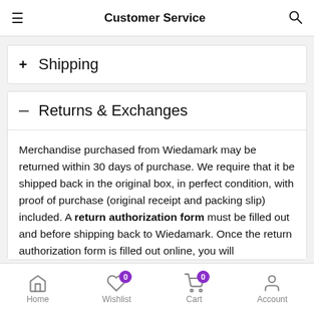Customer Service
+ Shipping
— Returns & Exchanges
Merchandise purchased from Wiedamark may be returned within 30 days of purchase. We require that it be shipped back in the original box, in perfect condition, with proof of purchase (original receipt and packing slip) included. A return authorization form must be filled out and before shipping back to Wiedamark. Once the return authorization form is filled out online, you will
Home  Wishlist 0  Cart 0  Account